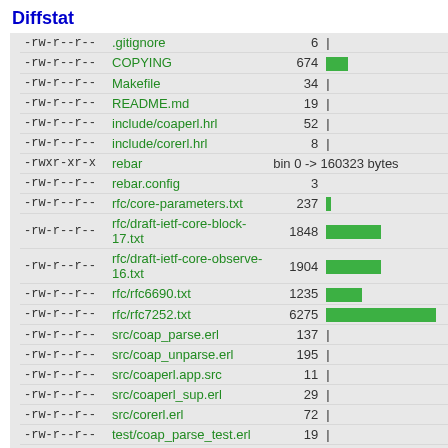Diffstat
| permissions | filename | count | bar |
| --- | --- | --- | --- |
| -rw-r--r-- | .gitignore | 6 | |  |
| -rw-r--r-- | COPYING | 674 | █ |
| -rw-r--r-- | Makefile | 34 | |  |
| -rw-r--r-- | README.md | 19 | |  |
| -rw-r--r-- | include/coaperl.hrl | 52 | |  |
| -rw-r--r-- | include/corerl.hrl | 8 | |  |
| -rwxr-xr-x | rebar | bin 0 -> 160323 bytes |  |
| -rw-r--r-- | rebar.config | 3 |  |
| -rw-r--r-- | rfc/core-parameters.txt | 237 | | █ |
| -rw-r--r-- | rfc/draft-ietf-core-block-17.txt | 1848 | ██████ |
| -rw-r--r-- | rfc/draft-ietf-core-observe-16.txt | 1904 | ██████ |
| -rw-r--r-- | rfc/rfc6690.txt | 1235 | ████ |
| -rw-r--r-- | rfc/rfc7252.txt | 6275 | ████████████████ |
| -rw-r--r-- | src/coap_parse.erl | 137 | |  |
| -rw-r--r-- | src/coap_unparse.erl | 195 | |  |
| -rw-r--r-- | src/coaperl.app.src | 11 | |  |
| -rw-r--r-- | src/coaperl_sup.erl | 29 | |  |
| -rw-r--r-- | src/corerl.erl | 72 | |  |
| -rw-r--r-- | test/coap_parse_test.erl | 19 | |  |
| -rw-r--r-- | test/coap_unparse_test.erl | 31 | |  |